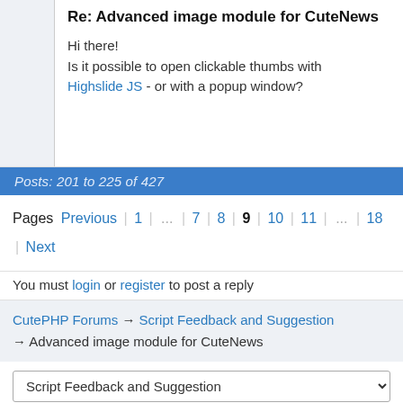Re: Advanced image module for CuteNews
Hi there!
Is it possible to open clickable thumbs with Highslide JS - or with a popup window?
Posts: 201 to 225 of 427
Pages Previous | 1 | ... | 7 | 8 | 9 | 10 | 11 | ... | 18 | Next
You must login or register to post a reply
CutePHP Forums → Script Feedback and Suggestion → Advanced image module for CuteNews
Script Feedback and Suggestion
Powered by PunBB, supported by Informer Technologies, Inc.
The pun_antispam official extension is installed. Copyright ©